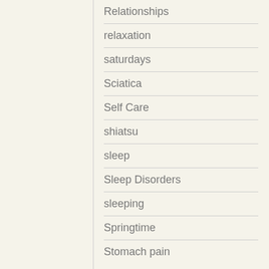Relationships
relaxation
saturdays
Sciatica
Self Care
shiatsu
sleep
Sleep Disorders
sleeping
Springtime
Stomach pain